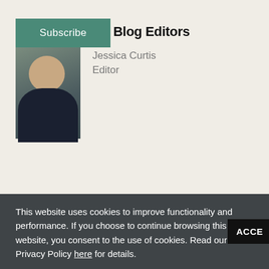Subscribe
Blog Editors
[Figure (photo): Professional headshot of Jessica Curtis, a woman with long blonde hair wearing a dark blazer, seated in an office setting]
Jessica Curtis
Editor
This website uses cookies to improve functionality and performance. If you choose to continue browsing this website, you consent to the use of cookies. Read our Privacy Policy here for details.
ACCE